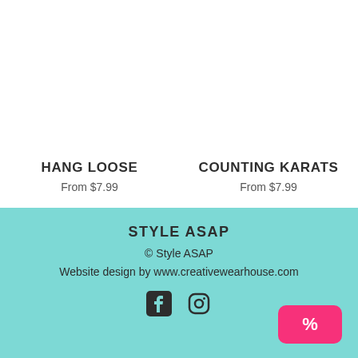HANG LOOSE
From $7.99
COUNTING KARATS
From $7.99
STYLE ASAP
© Style ASAP
Website design by www.creativewearhouse.com